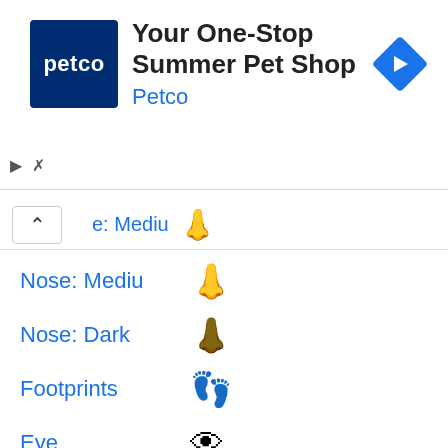[Figure (screenshot): Petco advertisement banner: Petco logo (dark blue square with white 'petco' text), headline 'Your One-Stop Summer Pet Shop', subtext 'Petco' in blue, and a blue diamond navigation arrow icon on the right.]
Nose: Mediu 👃 (medium skin tone nose emoji, partial row with chevron)
Nose: Mediu 👃
Nose: Dark 👃
Footprints 👣
Eye 👁
Eyes
Brain 🧠